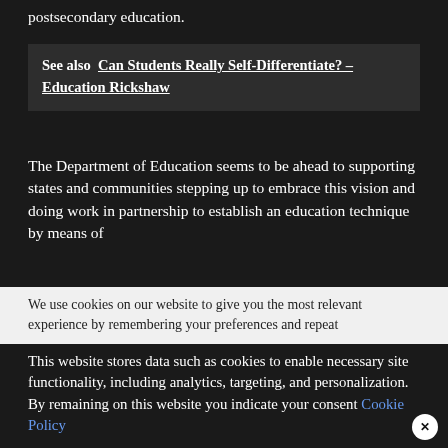postsecondary education.
See also  Can Students Really Self-Differentiate? – Education Rickshaw
The Department of Education seems to be ahead to supporting states and communities stepping up to embrace this vision and doing work in partnership to establish an education technique by means of
We use cookies on our website to give you the most relevant experience by remembering your preferences and repeat visits. By clicking "Accept All", you consent to the use of ALL t... provide a controlled consent.
This website stores data such as cookies to enable necessary site functionality, including analytics, targeting, and personalization. By remaining on this website you indicate your consent Cookie Policy